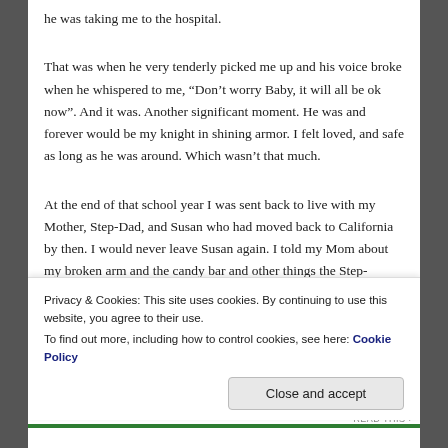he was taking me to the hospital.
That was when he very tenderly picked me up and his voice broke when he whispered to me, “Don’t worry Baby, it will all be ok now”. And it was. Another significant moment. He was and forever would be my knight in shining armor. I felt loved, and safe as long as he was around. Which wasn’t that much.
At the end of that school year I was sent back to live with my Mother, Step-Dad, and Susan who had moved back to California by then. I would never leave Susan again. I told my Mom about my broken arm and the candy bar and other things the Step-Monster had done that year.
When coming in, My Mother and Dad have spent the...
Privacy & Cookies: This site uses cookies. By continuing to use this website, you agree to their use.
To find out more, including how to control cookies, see here: Cookie Policy